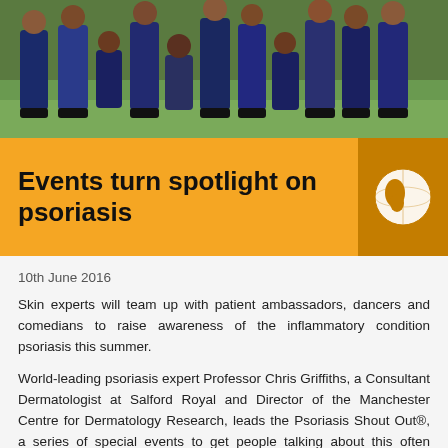[Figure (photo): Group photo of people standing on grass, wearing blue and dark clothing]
Events turn spotlight on psoriasis
10th June 2016
Skin experts will team up with patient ambassadors, dancers and comedians to raise awareness of the inflammatory condition psoriasis this summer.
World-leading psoriasis expert Professor Chris Griffiths, a Consultant Dermatologist at Salford Royal and Director of the Manchester Centre for Dermatology Research, leads the Psoriasis Shout Out®, a series of special events to get people talking about this often overlooked chronic condition.
The events will bring patients together with professionals